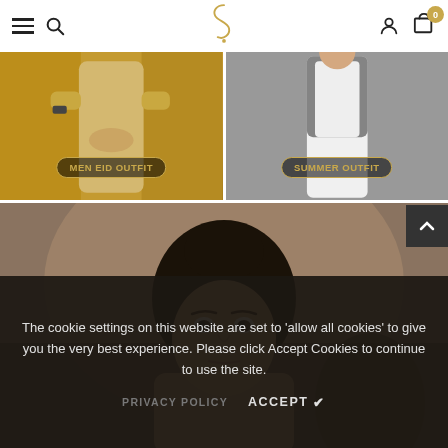[Figure (screenshot): Website navigation bar with hamburger menu, search icon, logo (stylized S), user icon, and cart with badge showing 0]
[Figure (photo): Men Eid Outfit product image showing a man in golden/beige traditional shalwar kameez with watch, with label 'MEN EID OUTFIT']
[Figure (photo): Summer Outfit product image showing a man in white traditional thobe, with label 'SUMMER OUTFIT']
[Figure (photo): Large photo of a young girl with dark hair tied up, looking at the camera, with ornate background]
The cookie settings on this website are set to 'allow all cookies' to give you the very best experience. Please click Accept Cookies to continue to use the site.
PRIVACY POLICY   ACCEPT ✓